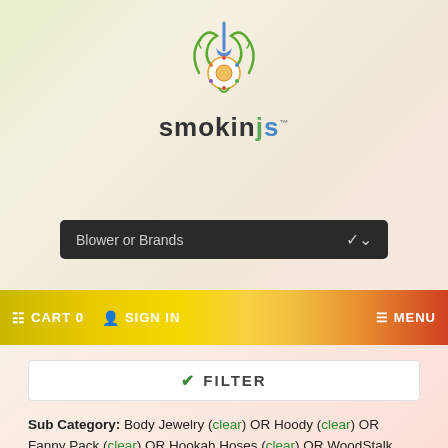[Figure (logo): smokinjs logo - decorative emblem with shovel and circular mandala motif with green swirls, and brand name 'smokinjs' below in dark text]
Blower or Brands
CART 0   SIGN IN   MENU
FILTER
Sub Category: Body Jewelry (clear) OR Hoody (clear) OR Fanny Pack (clear) OR Hookah Hoses (clear) OR WoodStalk (clear) OR Back Pack (clear) OR 420 Science Jar (clear) OR Concert Pipe (clear) OR Tie Dye T Shirt (clear) OR Bat (clear) OR Earings (clear) OR Glass Blunt (clear) OR 14mm